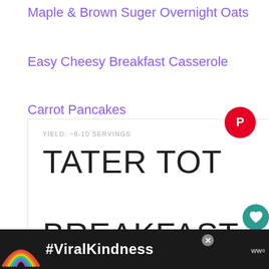Maple & Brown Suger Overnight Oats
Easy Cheesy Breakfast Casserole
Carrot Pancakes
YIELD: ~8-10 SERVINGS
TATER TOT BREAKFAST CASSEROLE
[Figure (other): Pinterest button (red circle with P icon)]
[Figure (other): Heart/like button (teal circle) with count 22 and share button below]
[Figure (other): Advertisement banner: rainbow graphic with #ViralKindness text and WW logo]